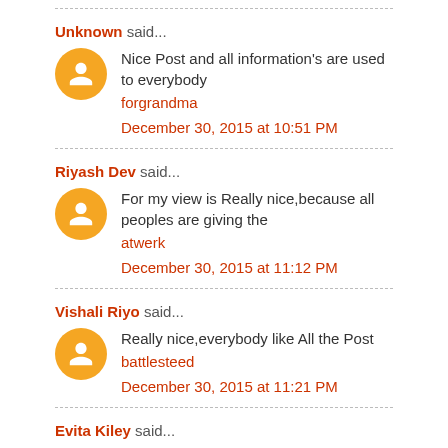Unknown said... Nice Post and all information's are used to everybody forgrandma December 30, 2015 at 10:51 PM
Riyash Dev said... For my view is Really nice,because all peoples are giving the atwerk December 30, 2015 at 11:12 PM
Vishali Riyo said... Really nice,everybody like All the Post battlesteed December 30, 2015 at 11:21 PM
Evita Kiley said...